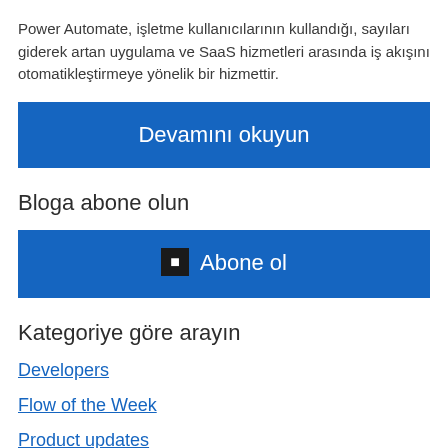Power Automate, işletme kullanıcılarının kullandığı, sayıları giderek artan uygulama ve SaaS hizmetleri arasında iş akışını otomatikleştirmeye yönelik bir hizmettir.
Devamını okuyun
Bloga abone olun
☰ Abone ol
Kategoriye göre arayın
Developers
Flow of the Week
Product updates
Stories